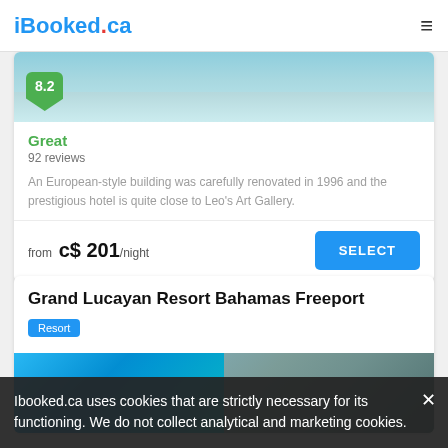iBooked.ca
[Figure (photo): Hotel photo strip with teal/blue water and ceiling, partially visible]
Great
92 reviews
An European-style building was carefully renovated in 1996 and the prestigious hotel is quite close to Leo's Art Gallery.
from  c$ 201 /night
Grand Lucayan Resort Bahamas Freeport
Resort
[Figure (photo): Aerial/resort photo showing beach, palm trees and building facade]
Ibooked.ca uses cookies that are strictly necessary for its functioning. We do not collect analytical and marketing cookies.